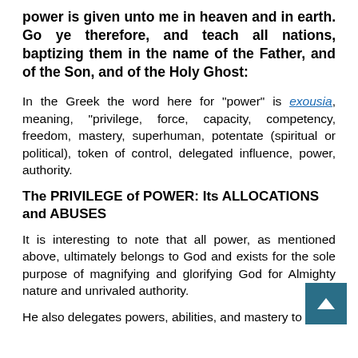power is given unto me in heaven and in earth. Go ye therefore, and teach all nations, baptizing them in the name of the Father, and of the Son, and of the Holy Ghost:
In the Greek the word here for "power" is exousia, meaning, "privilege, force, capacity, competency, freedom, mastery, superhuman, potentate (spiritual or political), token of control, delegated influence, power, authority.
The PRIVILEGE of POWER: Its ALLOCATIONS and ABUSES
It is interesting to note that all power, as mentioned above, ultimately belongs to God and exists for the sole purpose of magnifying and glorifying God for Almighty nature and unrivaled authority.
He also delegates powers, abilities, and mastery to